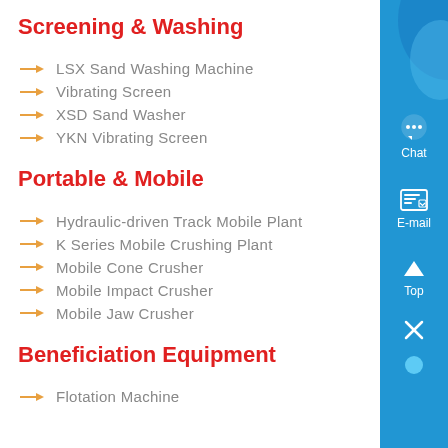Screening & Washing
LSX Sand Washing Machine
Vibrating Screen
XSD Sand Washer
YKN Vibrating Screen
Portable & Mobile
Hydraulic-driven Track Mobile Plant
K Series Mobile Crushing Plant
Mobile Cone Crusher
Mobile Impact Crusher
Mobile Jaw Crusher
Beneficiation Equipment
Flotation Machine